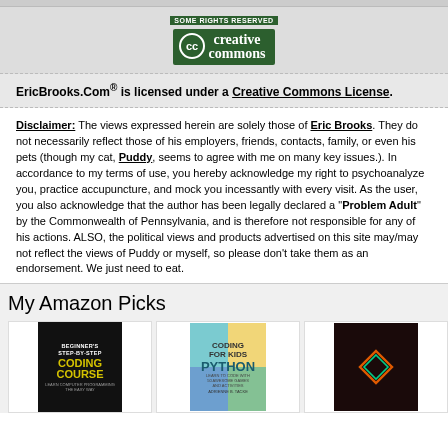[Figure (logo): Creative Commons 'Some Rights Reserved' badge with green CC logo]
EricBrooks.Com® is licensed under a Creative Commons License.
Disclaimer: The views expressed herein are solely those of Eric Brooks. They do not necessarily reflect those of his employers, friends, contacts, family, or even his pets (though my cat, Puddy, seems to agree with me on many key issues.). In accordance to my terms of use, you hereby acknowledge my right to psychoanalyze you, practice accupuncture, and mock you incessantly with every visit. As the user, you also acknowledge that the author has been legally declared a "Problem Adult" by the Commonwealth of Pennsylvania, and is therefore not responsible for any of his actions. ALSO, the political views and products advertised on this site may/may not reflect the views of Puddy or myself, so please don't take them as an endorsement. We just need to eat.
My Amazon Picks
[Figure (photo): Book cover: Beginner's Step-by-Step Coding Course]
[Figure (photo): Book cover: Coding for Kids Python]
[Figure (photo): Book cover: dark book with diamond logo]